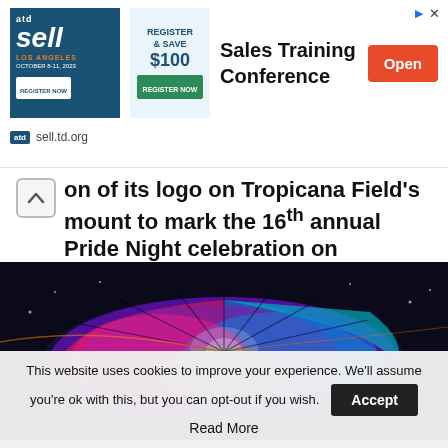[Figure (screenshot): Advertisement banner for ATD Sell Sales Training Conference. Shows ATD Sell Los Angeles logo, 'Register & Save $100' text, 'Sales Training Conference' title, and an orange 'Open' button. Footer shows 'atd sell.td.org'. Top right has ad icons.]
on of its logo on Tropicana Field's mount to mark the 16th annual Pride Night celebration on Saturday
[Figure (photo): Aerial night photograph of Tropicana Field stadium with its domed roof illuminated in rainbow Pride colors — purple, blue, pink, green — seen from above against a dark cityscape.]
This website uses cookies to improve your experience. We'll assume you're ok with this, but you can opt-out if you wish. Read More